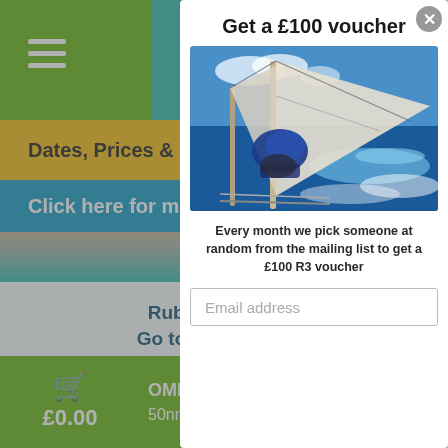[Figure (screenshot): Website background with green top bar, hamburger menu, yellow 'Dates, Prices & Bo...' bar, blue 'Click here for more' bar, teal ocean background, white content card with text 'Rubico... Go to live... https://ww...' and bottom green footer with cart icon, £0.00, 'OMBE', '50nm or so']
Get a £100 voucher
[Figure (photo): Sailing boat deck view showing rigging, sails, and rough blue sea with waves and blue sky]
Every month we pick someone at random from the mailing list to get a £100 R3 voucher
Email address